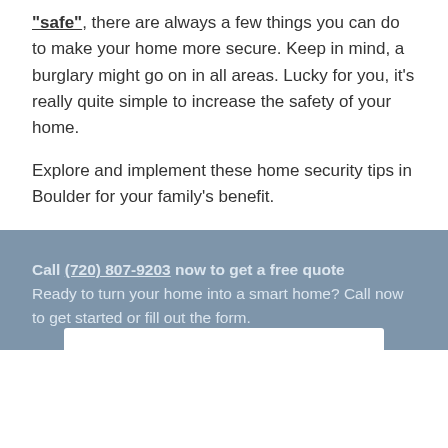"safe", there are always a few things you can do to make your home more secure. Keep in mind, a burglary might go on in all areas. Lucky for you, it's really quite simple to increase the safety of your home.
Explore and implement these home security tips in Boulder for your family's benefit.
Call (720) 807-9203 now to get a free quote
Ready to turn your home into a smart home? Call now to get started or fill out the form.